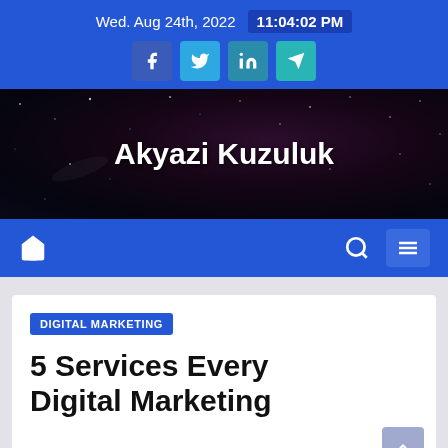Wed. Aug 24th, 2022  11:04:02 PM
[Figure (logo): Akyazi Kuzuluk website banner with starfield background]
Akyazi Kuzuluk
DIGITAL MARKETING
5 Services Every Digital Marketing